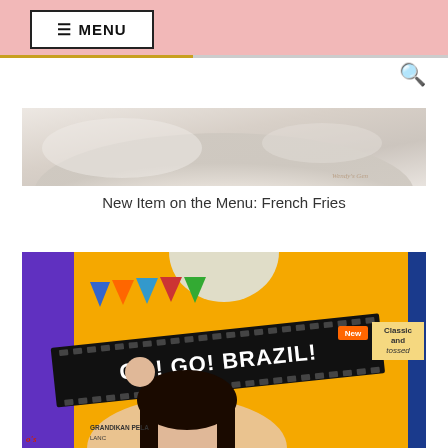☰ MENU
[Figure (photo): Close-up food photo showing light-colored food item (possibly cream/ice cream) with a watermark in the bottom right corner]
New Item on the Menu: French Fries
[Figure (photo): Promotional photo of a young Asian woman holding a film strip banner that reads 'GO! GO! BRAZIL!' at what appears to be a Wendy's restaurant promotion event. Yellow background with purple panel on left, colorful bunting flags visible, and menu boards in background showing 'New' and 'Classic and tossed' text.]